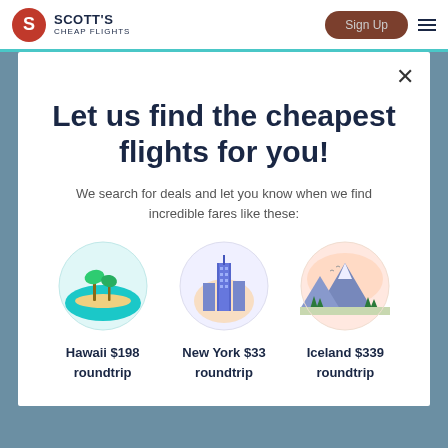Scott's Cheap Flights
Let us find the cheapest flights for you!
We search for deals and let you know when we find incredible fares like these:
[Figure (illustration): Three destination illustrations: Hawaii (tropical island with palm trees), New York (skyscraper skyline), Iceland (mountain landscape)]
Hawaii $198 roundtrip
New York $33 roundtrip
Iceland $339 roundtrip